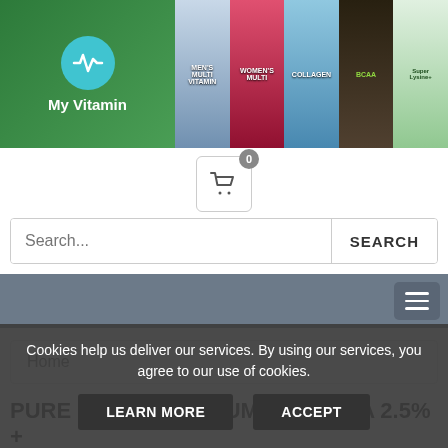[Figure (screenshot): My Vitamin website header banner with logo on the left (teal heart-rate icon with 'My Vitamin' text on green background) and product images on the right (Men's Multivitamin, Women's Multi, Collagen, BCAA, Super Lysine+)]
[Figure (screenshot): Shopping cart icon button with badge showing 0 items]
Search...
SEARCH
[Figure (screenshot): Navigation bar with hamburger menu icon on the right]
Home
PURE RETINOL SERUM VITAMIN A 2.5% +
Cookies help us deliver our services. By using our services, you agree to our use of cookies.
LEARN MORE
ACCEPT